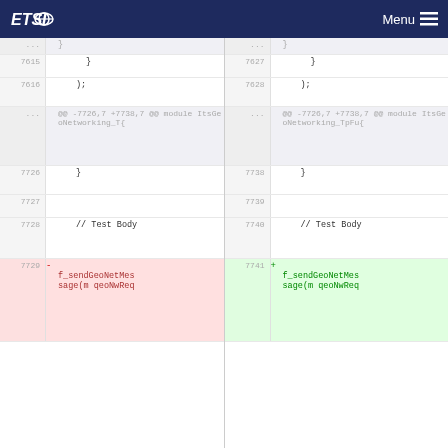ETSI  Menu
| line-old | content-old | line-new | content-new |
| --- | --- | --- | --- |
| ... | } | ... | } |
| 7615 |  | 7627 |  |
| 7616 | ); | 7628 | ); |
| ... | @@ -7726,7 +7738,7 @@ module ItsGeoNetworking_T{  | ... | @@ -7726,7 +7738,7 @@ module ItsGeoNetworking_TpFu{ |
| 7726 | } | 7738 | } |
| 7727 |  | 7739 |  |
| 7728 | // Test Body | 7740 | // Test Body |
| 7729 | - f_sendGeoNetMessage(m qeoNwReq | 7741 | + f_sendGeoNetMessage(m qeoNwReq |